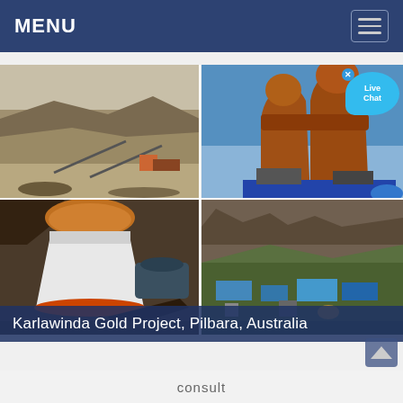MENU
[Figure (photo): Four-panel image grid showing mining and mineral processing equipment and sites: top-left shows an open-pit mine with hillside and conveyors; top-right shows large rusty industrial mill or crusher machinery against blue sky; bottom-left shows a white cone crusher with conveyor belts and motor; bottom-right shows an aerial/hillside view of a mining processing plant site with blue-roofed structures.]
Karlawinda Gold Project, Pilbara, Australia
consult